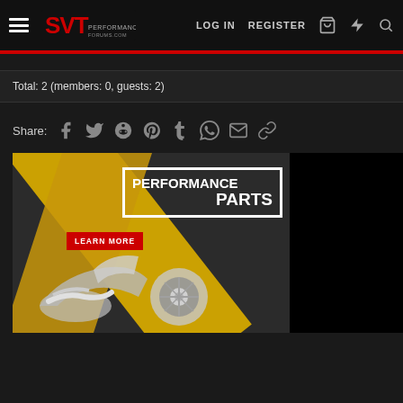SVT Performance — LOG IN   REGISTER
Total: 2 (members: 0, guests: 2)
Share:
[Figure (screenshot): Advertisement banner for Performance Parts with 'LEARN MORE' button, yellow diagonal stripe, and chrome automotive parts (headers/pulleys) on dark background]